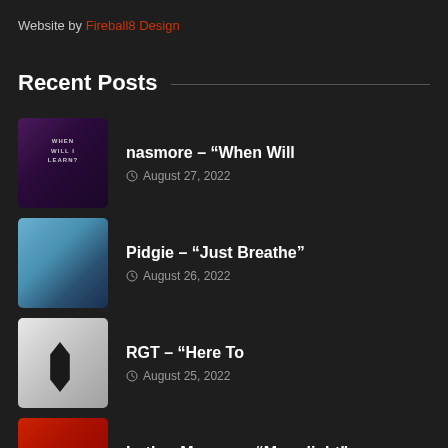Website by Fireball8 Design
Recent Posts
nasmore – “When Will | August 27, 2022
Pidgie – “Just Breathe” | August 26, 2022
RGT – “Here To | August 25, 2022
Luther Monroe – “Moonlight” | August 25, 2022